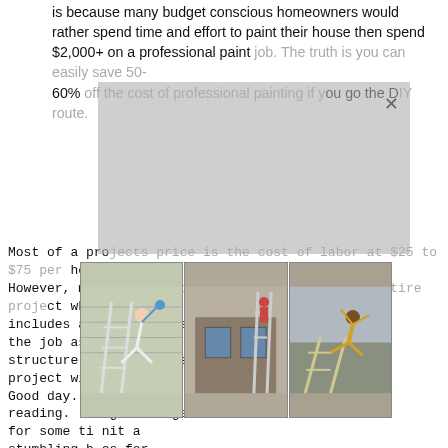is because many budget conscious homeowners would rather spend time and effort to paint their house then spend $2,000+ on a professional paint job. The truth is you can easily save 50-60% off the cost of professional painting if you go the DIY route.
[Figure (photo): Three photos showing people on ladders painting house exteriors, displayed side by side]
Most of a projects price is the cost of labor at $25 to $75 per hour. However, most contractors bid out based on the entire project which includes all wo... pro asks to do the job as "ti... cing structure, it us... ng the project will tak... Good day. S... e time reading. Gr... g coatings for some ti... nit a stumbling b... es for exterior work when doing brick homes that require doors, and the trim package. I've got a 4,000 sq ft ranch and has one high side where the driveway slopes down to a garage. Is everyone running linear feet pricing nowadays for fascia, soffit, and dentil moulding? I know different markets will have different tolerances. Trying to soundboard to see what most exterior guys are doing now. We've been indoors for